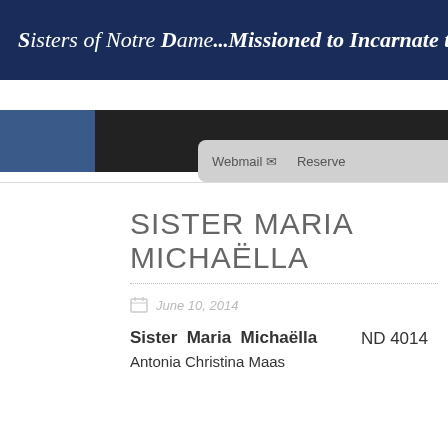Sisters of Notre Dame...Missioned to Incarnate the Love of God
SISTER MARIA MICHAËLLA
June 10, 2014
Sister  Maria  Michaëlla    ND 4014
Antonia Christina Maas